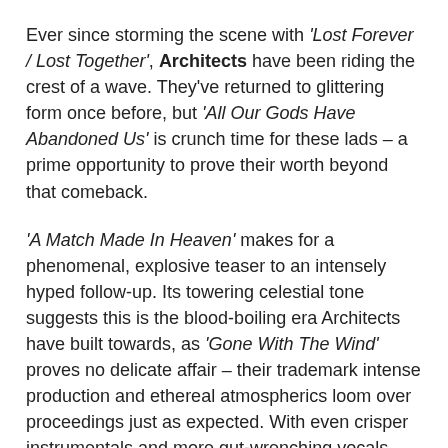Ever since storming the scene with 'Lost Forever / Lost Together', Architects have been riding the crest of a wave. They've returned to glittering form once before, but 'All Our Gods Have Abandoned Us' is crunch time for these lads – a prime opportunity to prove their worth beyond that comeback.
'A Match Made In Heaven' makes for a phenomenal, explosive teaser to an intensely hyped follow-up. Its towering celestial tone suggests this is the blood-boiling era Architects have built towards, as 'Gone With The Wind' proves no delicate affair – their trademark intense production and ethereal atmospherics loom over proceedings just as expected. With even crisper instrumentals and more gut-wrenching vocals than before, you'd be forgiven for thinking Architects couldn't set the bar